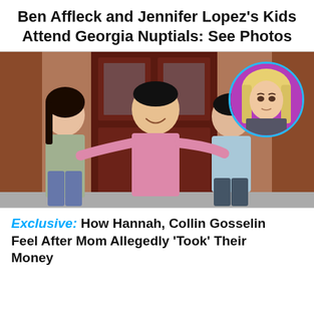Ben Affleck and Jennifer Lopez's Kids Attend Georgia Nuptials: See Photos
[Figure (photo): A man in a pink polo shirt stands with arms around two teenagers — a girl on the left in a camo shirt and a boy on the right in a light blue polo — in front of a dark red door. An inset circular photo in the upper right shows a blonde woman with a serious expression against a pink/purple background.]
Exclusive: How Hannah, Collin Gosselin Feel After Mom Allegedly 'Took' Their Money